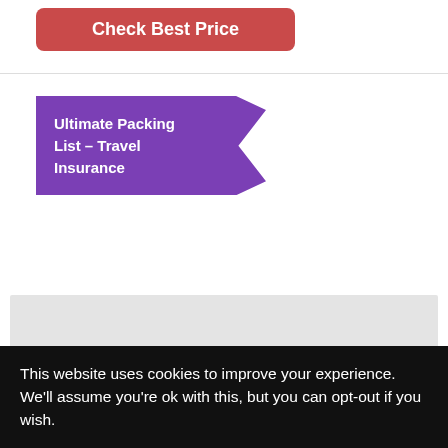[Figure (other): Red rounded button labeled 'Check Best Price']
Ultimate Packing List – Travel Insurance
[Figure (other): Light gray placeholder box (advertisement or image placeholder)]
This website uses cookies to improve your experience. We'll assume you're ok with this, but you can opt-out if you wish.